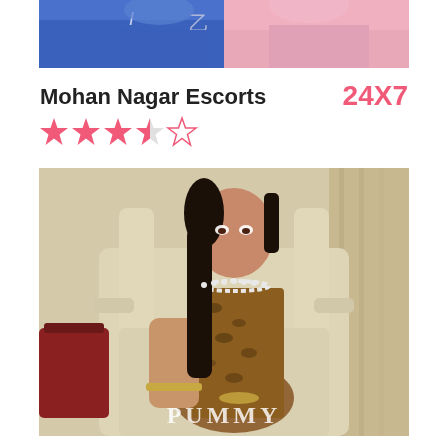[Figure (photo): Partial photo of two people at the top of the page, cropped showing torsos in blue and pink clothing]
Mohan Nagar Escorts
24X7
[Figure (other): Star rating: 3.5 out of 5 stars (3 filled stars, 1 half star, 1 empty star) in pink/coral color]
[Figure (photo): Photo of a young woman with long dark hair sitting in a beige/cream armchair, wearing a leopard print outfit with pearl necklace and bracelet. Watermark text 'PUMMY' at bottom.]